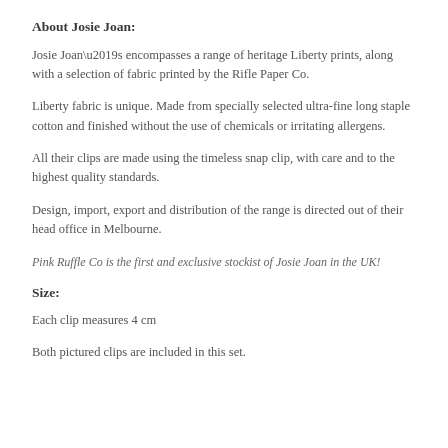About Josie Joan:
Josie Joan’s encompasses a range of heritage Liberty prints, along with a selection of fabric printed by the Rifle Paper Co.
Liberty fabric is unique. Made from specially selected ultra-fine long staple cotton and finished without the use of chemicals or irritating allergens.
All their clips are made using the timeless snap clip, with care and to the highest quality standards.
Design, import, export and distribution of the range is directed out of their head office in Melbourne.
Pink Ruffle Co is the first and exclusive stockist of Josie Joan in the UK!
Size:
Each clip measures 4 cm
Both pictured clips are included in this set.